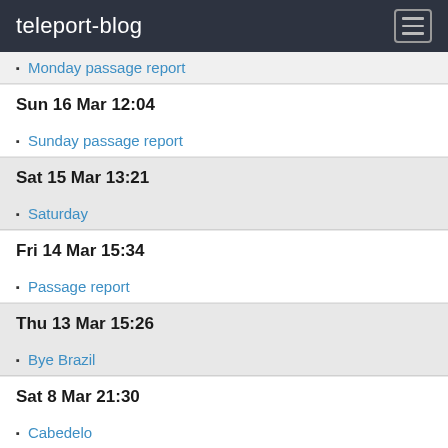teleport-blog
Monday passage report
Sun 16 Mar 12:04
Sunday passage report
Sat 15 Mar 13:21
Saturday
Fri 14 Mar 15:34
Passage report
Thu 13 Mar 15:26
Bye Brazil
Sat 8 Mar 21:30
Cabedelo
Feb 2014
Sun 23 Feb 18:21
Sunday 23rd Feb
Arrived Brazil
Sun 16 Feb 08:45